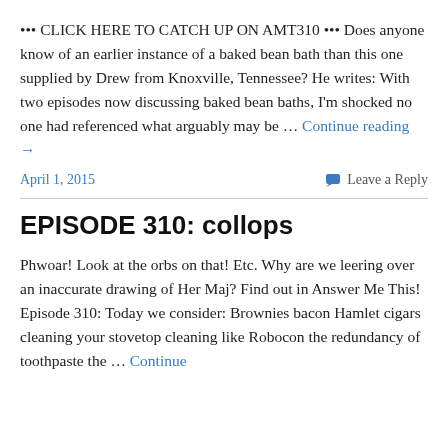••• CLICK HERE TO CATCH UP ON AMT310 ••• Does anyone know of an earlier instance of a baked bean bath than this one supplied by Drew from Knoxville, Tennessee? He writes: With two episodes now discussing baked bean baths, I'm shocked no one had referenced what arguably may be … Continue reading →
April 1, 2015   Leave a Reply
EPISODE 310: collops
Phwoar! Look at the orbs on that! Etc. Why are we leering over an inaccurate drawing of Her Maj? Find out in Answer Me This! Episode 310: Today we consider: Brownies bacon Hamlet cigars cleaning your stovetop cleaning like Robocon the redundancy of toothpaste the … Continue